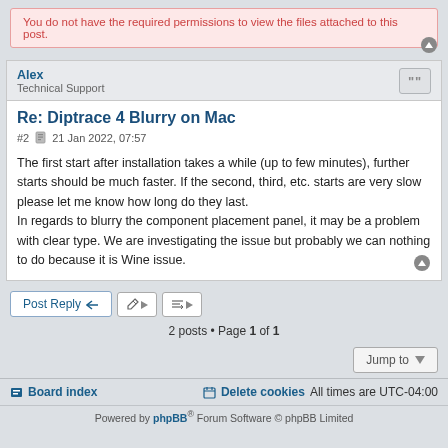You do not have the required permissions to view the files attached to this post.
Alex
Technical Support
Re: Diptrace 4 Blurry on Mac
#2  21 Jan 2022, 07:57
The first start after installation takes a while (up to few minutes), further starts should be much faster. If the second, third, etc. starts are very slow please let me know how long do they last.
In regards to blurry the component placement panel, it may be a problem with clear type. We are investigating the issue but probably we can nothing to do because it is Wine issue.
Post Reply
2 posts • Page 1 of 1
Jump to
Board index   Delete cookies   All times are UTC-04:00
Powered by phpBB® Forum Software © phpBB Limited